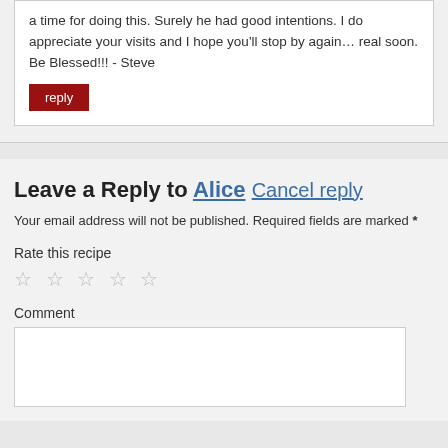a time for doing this. Surely he had good intentions. I do appreciate your visits and I hope you'll stop by again… real soon. Be Blessed!!! - Steve
reply
Leave a Reply to Alice Cancel reply
Your email address will not be published. Required fields are marked *
Rate this recipe
☆ ☆ ☆ ☆ ☆
Comment